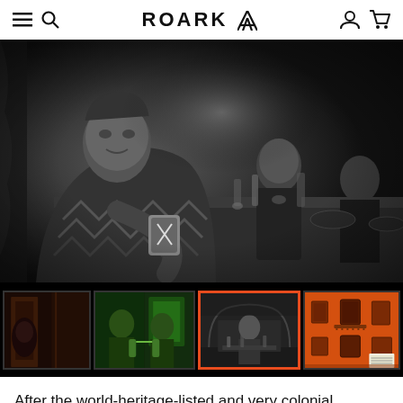ROARK
[Figure (photo): Black and white photo of men sitting at a long dinner table in a restaurant, the closest man wearing a patterned shirt and holding up a cup with a logo on it.]
[Figure (photo): Thumbnail strip of four photos: 1) dark indoor scene with a person, 2) two people toasting drinks in a green-lit room, 3) black and white photo of person at a table (selected/active, with orange border), 4) orange colonial building exterior.]
After the world-heritage-listed and very colonial Oaxaca city, we